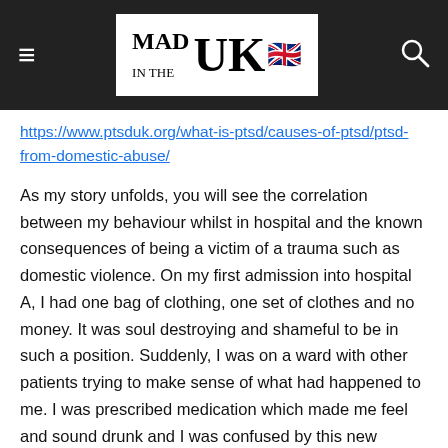MAD IN THE UK
https://www.ptsduk.org/what-is-ptsd/causes-of-ptsd/ptsd-from-domestic-abuse/
As my story unfolds, you will see the correlation between my behaviour whilst in hospital and the known consequences of being a victim of a trauma such as domestic violence. On my first admission into hospital A, I had one bag of clothing, one set of clothes and no money. It was soul destroying and shameful to be in such a position. Suddenly, I was on a ward with other patients trying to make sense of what had happened to me. I was prescribed medication which made me feel and sound drunk and I was confused by this new routine. It was the most confusing time in my life and I found the other patients very challenging and would have angry arguments with some of them. I was still hypervigilant and the term ‘rabbit in the